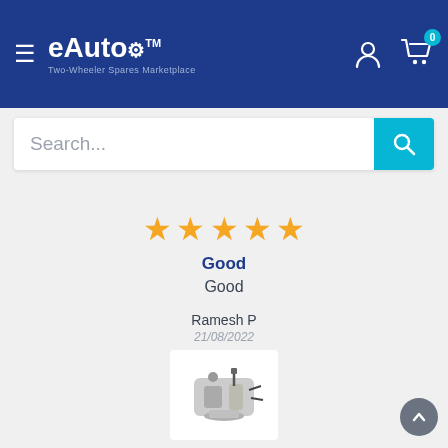[Figure (screenshot): eAuto Two-Wheeler Spares Marketplace navigation header with hamburger menu, logo, user icon, and cart icon with badge showing 0]
Search...
[Figure (other): Five yellow star rating icons]
Good
Good
Ramesh P
21/08/2022
[Figure (photo): Product photo of UCAL Bike Carburetor for Yamaha Gladiator YBR 125]
UCAL Bike Carburetor for Yamaha Gladiator | YBR 125